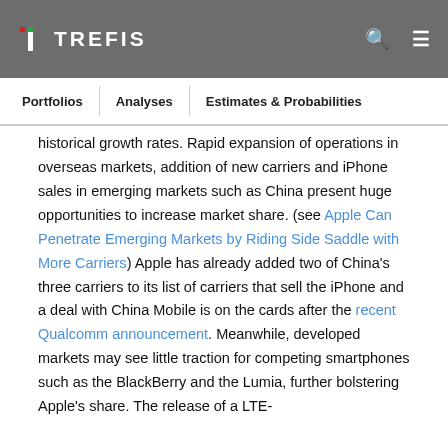TREFIS
historical growth rates. Rapid expansion of operations in overseas markets, addition of new carriers and iPhone sales in emerging markets such as China present huge opportunities to increase market share. (see Apple Can Penetrate Emerging Markets by Riding Side Saddle with More Carriers) Apple has already added two of China's three carriers to its list of carriers that sell the iPhone and a deal with China Mobile is on the cards after the recent Qualcomm announcement. Meanwhile, developed markets may see little traction for competing smartphones such as the BlackBerry and the Lumia, further bolstering Apple's share. The release of a LTE-